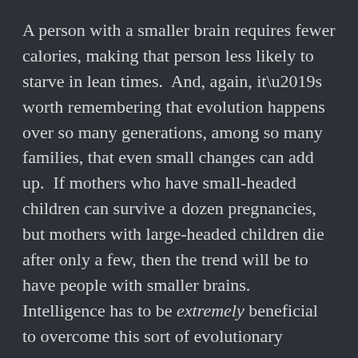A person with a smaller brain requires fewer calories, making that person less likely to starve in lean times.  And, again, it’s worth remembering that evolution happens over so many generations, among so many families, that even small changes can add up.  If mothers who have small-headed children can survive a dozen pregnancies, but mothers with large-headed children die after only a few, then the trend will be to have people with smaller brains.  Intelligence has to be extremely beneficial to overcome this sort of evolutionary pressure.
Similarly, if people with small brains are more likely to survive and raise children during droughts, then, after hundreds of generations of people who have survived dozens of extended